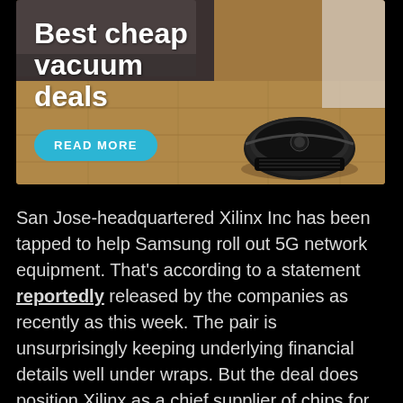[Figure (illustration): Advertisement banner showing a robot vacuum cleaner on a wooden floor with text 'Best cheap vacuum deals' and a cyan 'READ MORE' button]
San Jose-headquartered Xilinx Inc has been tapped to help Samsung roll out 5G network equipment. That's according to a statement reportedly released by the companies as recently as this week. The pair is unsurprisingly keeping underlying financial details well under wraps. But the deal does position Xilinx as a chief supplier of chips for Samsung's mobile networking efforts.